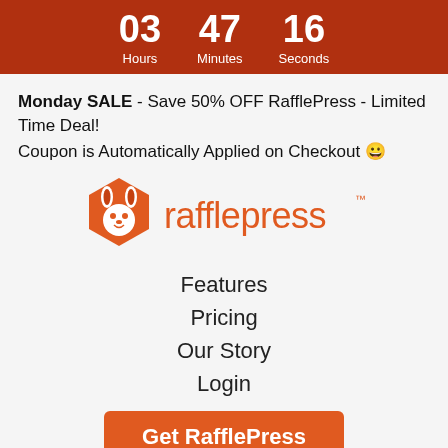03 Hours  47 Minutes  16 Seconds
Monday SALE - Save 50% OFF RafflePress - Limited Time Deal!
Coupon is Automatically Applied on Checkout 😀
[Figure (logo): RafflePress logo with orange hexagon rabbit icon and orange rafflepress text with TM mark]
Features
Pricing
Our Story
Login
Get RafflePress